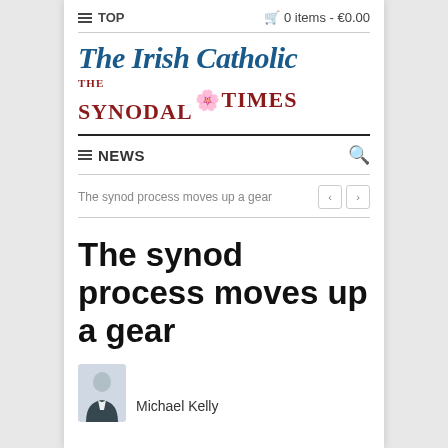TOP | 0 items - €0.00
The Irish Catholic
[Figure (logo): The Synodal Times logo with decorative flower/dove emblem in red and gold serif lettering]
NEWS
The synod process moves up a gear
The synod process moves up a gear
Michael Kelly